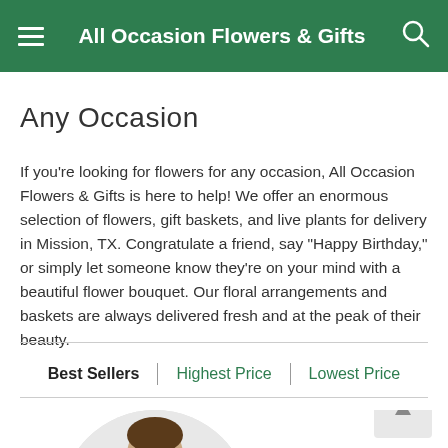All Occasion Flowers & Gifts
Any Occasion
If you're looking for flowers for any occasion, All Occasion Flowers & Gifts is here to help! We offer an enormous selection of flowers, gift baskets, and live plants for delivery in Mission, TX. Congratulate a friend, say "Happy Birthday," or simply let someone know they're on your mind with a beautiful flower bouquet. Our floral arrangements and baskets are always delivered fresh and at the peak of their beauty.
Best Sellers | Highest Price | Lowest Price
[Figure (photo): A person in a black outfit holding a pink rose, shown from the shoulders down, displayed in a circular cropped image]